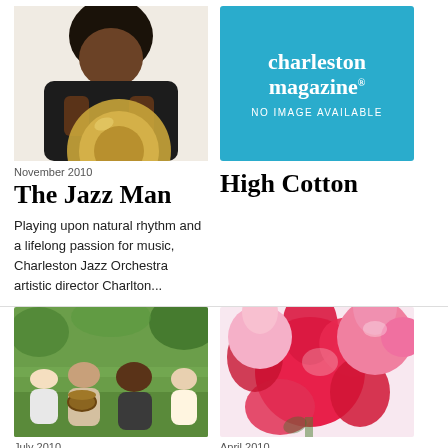[Figure (photo): A musician playing a brass instrument (trombone or trumpet) close-up, wearing a dark hoodie, white background]
[Figure (logo): Charleston Magazine placeholder – teal/blue background with white 'charleston magazine' logo text and 'NO IMAGE AVAILABLE' text]
November 2010
High Cotton
The Jazz Man
Playing upon natural rhythm and a lifelong passion for music, Charleston Jazz Orchestra artistic director Charlton...
[Figure (photo): Outdoor group of people sitting on grass, musician with drum/percussion instrument, casual outdoor gathering]
[Figure (photo): Close-up of pink and red flowers, roses and ranunculus bouquet]
July 2010
April 2010
On a Mission
Florabundance
Edmond Charms & the
Remembrances from a year